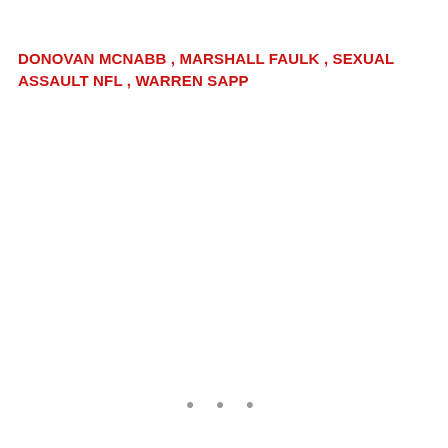DONOVAN MCNABB , MARSHALL FAULK , SEXUAL ASSAULT NFL , WARREN SAPP
• • •